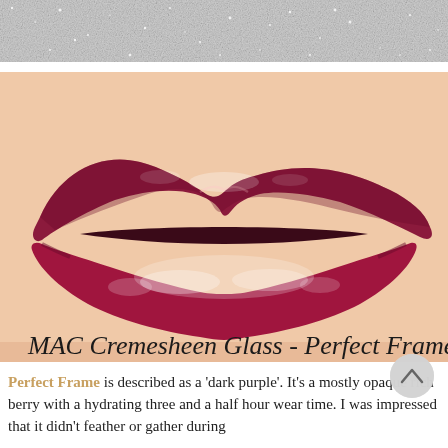[Figure (photo): Top strip showing silver glitter texture background]
[Figure (photo): Close-up photo of lips wearing MAC Cremesheen Glass in Perfect Frame, a deep dark berry/raspberry red shade with glossy finish. Text overlay reads: MAC Cremesheen Glass - Perfect Frame]
Perfect Frame is described as a 'dark purple'. It's a mostly opaque rich berry with a hydrating three and a half hour wear time. I was impressed that it didn't feather or gather during